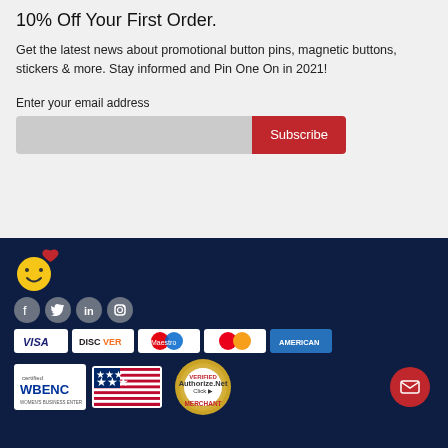10% Off Your First Order.
Get the latest news about promotional button pins, magnetic buttons, stickers & more. Stay informed and Pin One On in 2021!
Enter your email address
[Figure (screenshot): Email input field with Subscribe button]
[Figure (logo): Smiley face logo with heart]
[Figure (infographic): Social media icons: Facebook, Twitter, LinkedIn, Instagram]
[Figure (infographic): Payment method icons: Visa, Discover, Maestro, MasterCard, American Express]
[Figure (infographic): Trust badges: WBENC certified, US flag, Authorize.Net Verified Merchant, mail button]